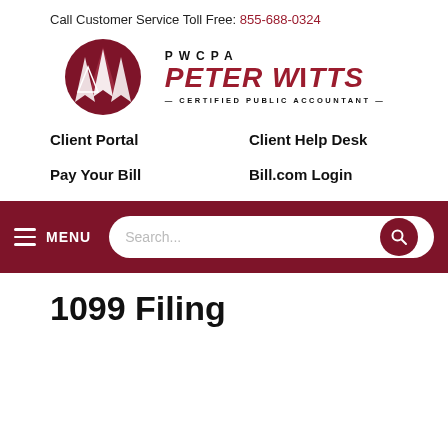Call Customer Service Toll Free: 855-688-0324
[Figure (logo): PWCPA Peter Witts Certified Public Accountant logo with dark red circular icon on left]
Client Portal
Client Help Desk
Pay Your Bill
Bill.com Login
[Figure (screenshot): Dark red navigation bar with hamburger menu icon, MENU text, and search bar with search button]
1099 Filing